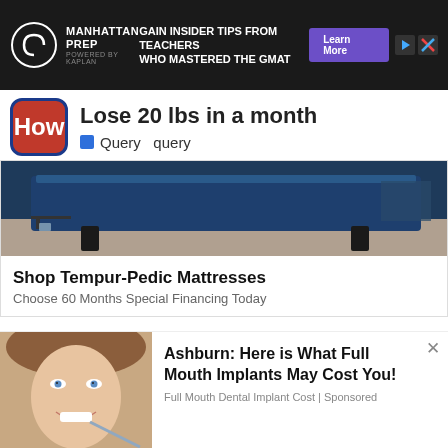[Figure (screenshot): Manhattan Prep advertisement banner: 'GAIN INSIDER TIPS FROM TEACHERS WHO MASTERED THE GMAT' with Learn More button]
Lose 20 lbs in a month
Query  query
[Figure (photo): Tempur-Pedic mattress advertisement showing a blue velvet bed frame on a light floor with dark background]
Shop Tempur-Pedic Mattresses
Choose 60 Months Special Financing Today
[Figure (photo): Advertisement showing a smiling woman's face - dental implant ad]
Ashburn: Here is What Full Mouth Implants May Cost You!
Full Mouth Dental Implant Cost | Sponsored
and now  e third month o